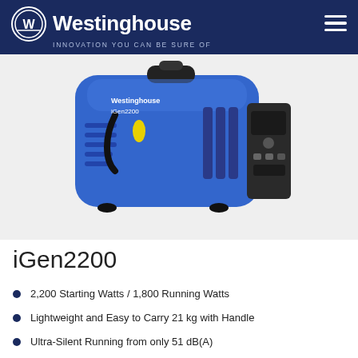Westinghouse — INNOVATION YOU CAN BE SURE OF
[Figure (photo): Westinghouse iGen2200 portable inverter generator in blue, shown from a 3/4 angle, with the control panel visible on the right side and a yellow fuel cap on top.]
iGen2200
2,200 Starting Watts / 1,800 Running Watts
Lightweight and Easy to Carry 21 kg with Handle
Ultra-Silent Running from only 51 dB(A)